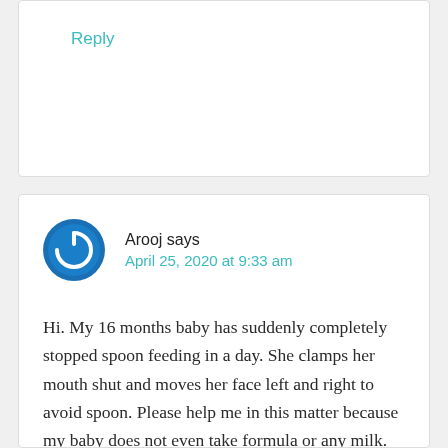Reply
Arooj says
April 25, 2020 at 9:33 am
Hi. My 16 months baby has suddenly completely stopped spoon feeding in a day. She clamps her mouth shut and moves her face left and right to avoid spoon. Please help me in this matter because my baby does not even take formula or any milk. Spoon feeding was only source of giving her proper food. She was feeding fine before this.